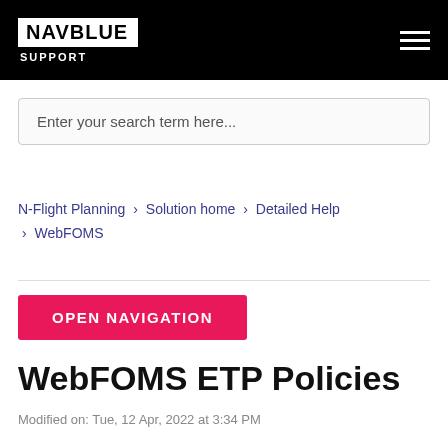NAVBLUE SUPPORT
Enter your search term here...
N-Flight Planning › Solution home › Detailed Help › WebFOMS
OPEN NAVIGATION
WebFOMS ETP Policies
Modified on: Tue, 12 Apr, 2022 at 3:34 PM